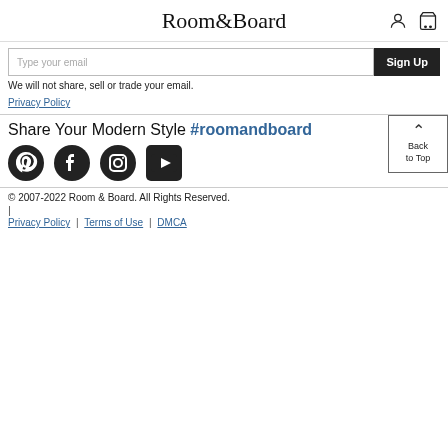Room&Board
Type your email | Sign Up
We will not share, sell or trade your email.
Privacy Policy
Share Your Modern Style #roomandboard
[Figure (logo): Social media icons: Pinterest, Facebook, Instagram, YouTube]
© 2007-2022 Room & Board. All Rights Reserved.
|
Privacy Policy | Terms of Use | DMCA